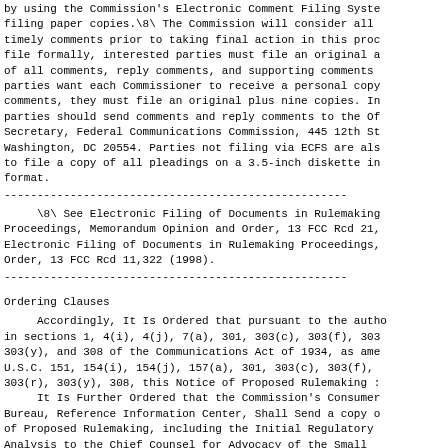by using the Commission's Electronic Comment Filing System filing paper copies.\8\ The Commission will consider all timely comments prior to taking final action in this proc file formally, interested parties must file an original a of all comments, reply comments, and supporting comments parties want each Commissioner to receive a personal copy comments, they must file an original plus nine copies. I parties should send comments and reply comments to the O Secretary, Federal Communications Commission, 445 12th S Washington, DC 20554. Parties not filing via ECFS are al to file a copy of all pleadings on a 3.5-inch diskette i format.
--------------------------------------------------------------------
\8\ See Electronic Filing of Documents in Rulemaking Proceedings, Memorandum Opinion and Order, 13 FCC Rcd 21, Electronic Filing of Documents in Rulemaking Proceedings, Order, 13 FCC Rcd 11,322 (1998).
--------------------------------------------------------------------
Ordering Clauses
Accordingly, It Is Ordered that pursuant to the autho in sections 1, 4(i), 4(j), 7(a), 301, 303(c), 303(f), 303 303(y), and 308 of the Communications Act of 1934, as ame U.S.C. 151, 154(i), 154(j), 157(a), 301, 303(c), 303(f), 303(r), 303(y), 308, this Notice of Proposed Rulemaking : It Is Further Ordered that the Commission's Consumer Bureau, Reference Information Center, Shall Send a copy o of Proposed Rulemaking, including the Initial Regulatory Analysis to the Chief Counsel for Advocacy of the Small